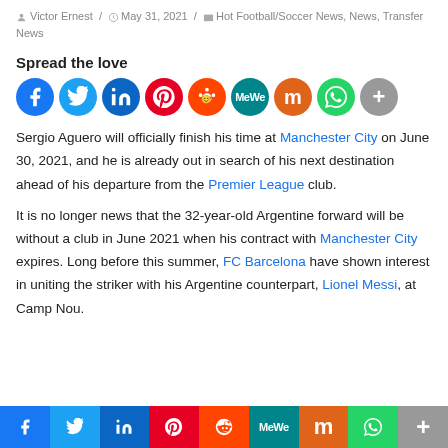Victor Ernest / May 31, 2021 / Hot Football/Soccer News, News, Transfer News
Spread the love
[Figure (other): Social share icon buttons: Facebook, Twitter, LinkedIn, Pinterest, Reddit, MeWe, Mix, WhatsApp, More]
Sergio Aguero will officially finish his time at Manchester City on June 30, 2021, and he is already out in search of his next destination ahead of his departure from the Premier League club.
It is no longer news that the 32-year-old Argentine forward will be without a club in June 2021 when his contract with Manchester City expires. Long before this summer, FC Barcelona have shown interest in uniting the striker with his Argentine counterpart, Lionel Messi, at Camp Nou.
[Figure (other): Bottom social share bar: Facebook, Twitter, LinkedIn, Pinterest, Reddit, MeWe, Mix, WhatsApp, More]